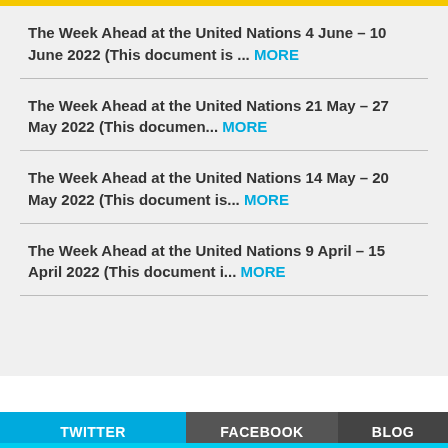The Week Ahead at the United Nations 4 June – 10 June 2022  (This document is ... MORE
The Week Ahead at the United Nations 21 May – 27 May 2022  (This documen... MORE
The Week Ahead at the United Nations 14 May – 20 May 2022  (This document is... MORE
The Week Ahead at the United Nations 9 April – 15 April 2022  (This document i... MORE
TWITTER   FACEBOOK   BLOG